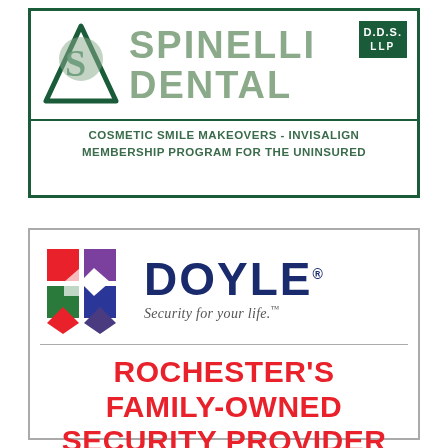[Figure (logo): Spinelli Dental D.D.S. LLP logo with green triangle and stylized S, with tagline: COSMETIC SMILE MAKEOVERS - INVISALIGN MEMBERSHIP PROGRAM FOR THE UNINSURED]
[Figure (logo): Doyle Security logo with colorful pinwheel/diamond shapes and text: DOYLE Security for your life. ROCHESTER'S FAMILY-OWNED SECURITY PROVIDER]